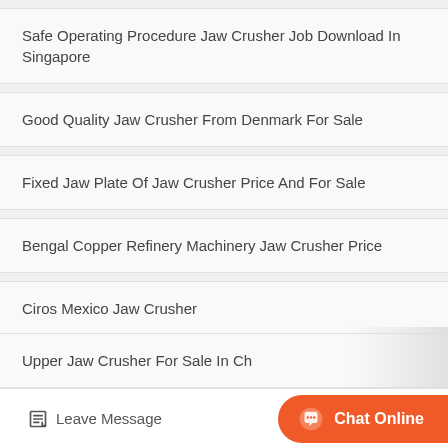Safe Operating Procedure Jaw Crusher Job Download In Singapore
Good Quality Jaw Crusher From Denmark For Sale
Fixed Jaw Plate Of Jaw Crusher Price And For Sale
Bengal Copper Refinery Machinery Jaw Crusher Price
Ciros Mexico Jaw Crusher
Heavyduty Jaw Crushers Heavy Equipment Sales
Upper Jaw Crusher For Sale In Ch…
Leave Message
Chat Online